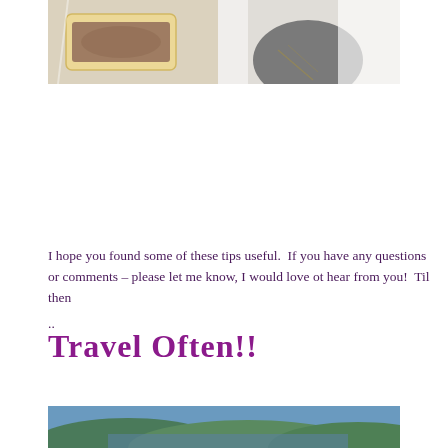[Figure (photo): Top portion of page showing a sandwich or food item in a plastic bag on the left, and a person wearing a grey shirt on the right, both against a white/light background.]
I hope you found some of these tips useful.  If you have any questions or comments – please let me know, I would love ot hear from you!  Til then
..
Travel Often!!
[Figure (photo): Bottom portion of page showing a landscape with green hills or mountains and blue sky/water.]